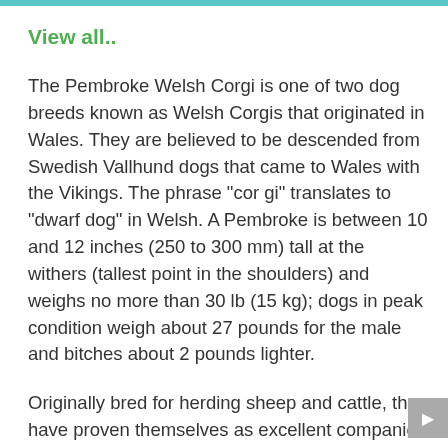View all..
The Pembroke Welsh Corgi is one of two dog breeds known as Welsh Corgis that originated in Wales. They are believed to be descended from Swedish Vallhund dogs that came to Wales with the Vikings. The phrase "cor gi" translates to "dwarf dog" in Welsh. A Pembroke is between 10 and 12 inches (250 to 300 mm) tall at the withers (tallest point in the shoulders) and weighs no more than 30 lb (15 kg); dogs in peak condition weigh about 27 pounds for the male and bitches about 2 pounds lighter.
Originally bred for herding sheep and cattle, they have proven themselves as excellent companion animals and are outstanding competitors in sheepdog trials and dog agility. Like most herding